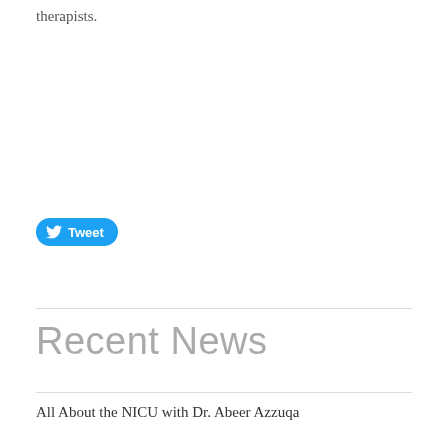therapists.
[Figure (other): Twitter Tweet button with bird icon]
Recent News
All About the NICU with Dr. Abeer Azzuqa
Pediatric Acute Care Cardiology Collaborative Publishes Findings from...